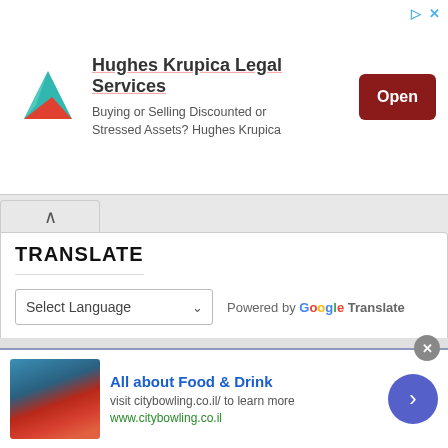[Figure (other): Advertisement banner for Hughes Krupica Legal Services with logo icon, text about buying or selling discounted or stressed assets, and an Open button]
[Figure (screenshot): Translate widget with Select Language dropdown and Powered by Google Translate label]
TRANSLATE
[Figure (screenshot): Healthy Breakfast section header with fruit image below and infolinks badge]
HEALTHY BREAKFAST
[Figure (other): Infolinks ad: All about Food & Drink, visit citybowling.co.il/ to learn more, www.citybowling.co.il, with food photo on left and next arrow button on right]